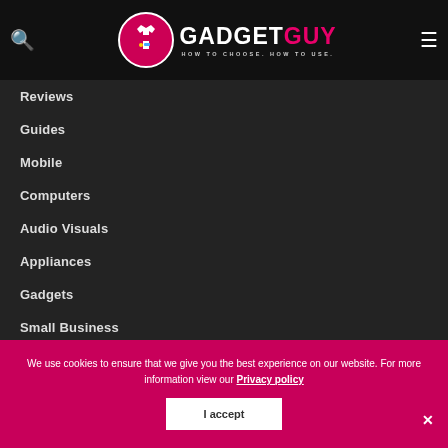GADGET GUY — HOW TO CHOOSE. HOW TO USE.
Reviews
Guides
Mobile
Computers
Audio Visuals
Appliances
Gadgets
Small Business
We use cookies to ensure that we give you the best experience on our website. For more information view our Privacy policy
I accept